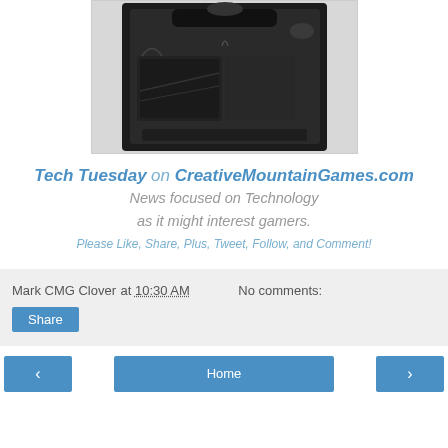[Figure (photo): A black leather bag or briefcase photographed from above/front against a white background]
Tech Tuesday on CreativeMountainGames.com
News focused on Technology
as it might interest gamers.
Please Like, Share, Plus, Tweet, Follow, and Comment!
Mark CMG Clover at 10:30 AM   No comments:
Share
‹   Home   ›